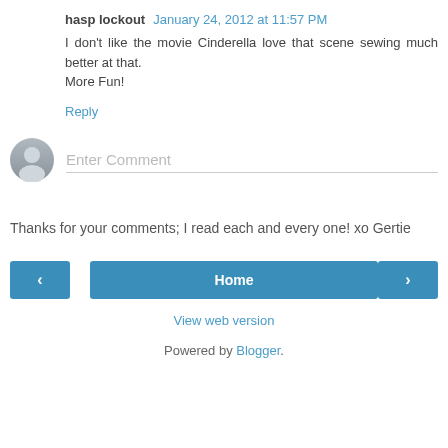hasp lockout  January 24, 2012 at 11:57 PM
I don't like the movie Cinderella love that scene sewing much better at that.
More Fun!
Reply
[Figure (other): Gray avatar/profile icon placeholder circle]
Enter Comment
Thanks for your comments; I read each and every one! xo Gertie
< Home >
View web version
Powered by Blogger.